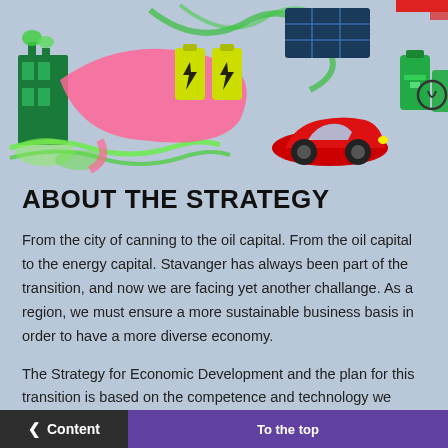[Figure (illustration): Colorful illustration showing green energy transition themes: a green building/factory with water, pink speech bubble, yellow lightning bolt batteries, solar panels, a red sports car, and green energy containers on a light blue background.]
ABOUT THE STRATEGY
From the city of canning to the oil capital. From the oil capital to the energy capital. Stavanger has always been part of the transition, and now we are facing yet another challange. As a region, we must ensure a more sustainable business basis in order to have a more diverse economy.
The Strategy for Economic Development and the plan for this transition is based on the competence and technology we have acquired with almost 50 years of oil and gas. We believe this gives us both a unique competence and a competitive advantage.